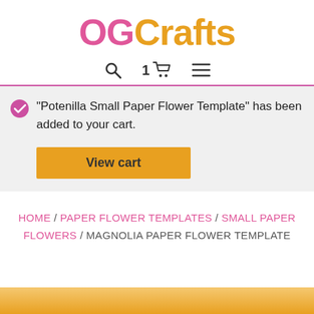OGCrafts
1 [cart icon] [search icon] [menu icon]
"Potenilla Small Paper Flower Template" has been added to your cart. View cart
HOME / PAPER FLOWER TEMPLATES / SMALL PAPER FLOWERS / MAGNOLIA PAPER FLOWER TEMPLATE
[Figure (photo): Bottom portion of a product image, appears to show a paper flower, partially visible at the bottom of the page]